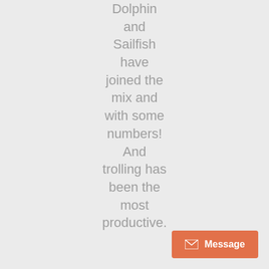Dolphin and Sailfish have joined the mix and with some numbers! And trolling has been the most productive.
[Figure (other): Orange message button with envelope icon and 'Message' label in bottom-right corner]